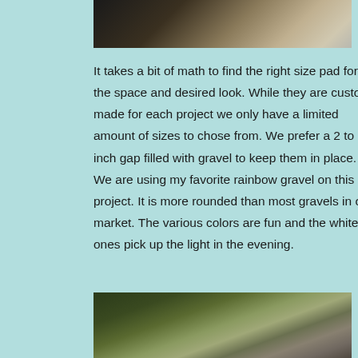[Figure (photo): Top portion of a photo showing construction materials including dark soil/dirt and light colored concrete or stone slabs]
It takes a bit of math to find the right size pad for the space and desired look. While they are custom made for each project we only have a limited amount of sizes to chose from. We prefer a 2 to 3 inch gap filled with gravel to keep them in place. We are using my favorite rainbow gravel on this project. It is more rounded than most gravels in our market. The various colors are fun and the white ones pick up the light in the evening.
[Figure (photo): Bottom portion of a photo showing an outdoor garden or yard area with wooden bench/furniture, trees, and wire fencing]